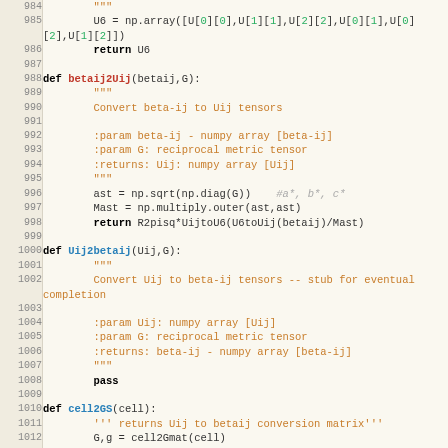Python source code listing, lines 984-1014, showing functions betaij2Uij, Uij2betaij, and cell2GS with docstrings and implementation.